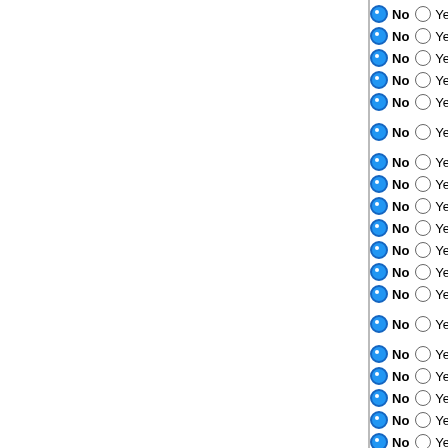No / Yes — Prunus persica v185
No / Yes — Linum usitatissimum v200
No / Yes — Manihot esculenta v147
No / Yes — Populus trichocarpa v156
No / Yes — Vitis vinifera
No / Yes — Mimulus guttatus v140
No / Yes — Solanum lycopersicum v.2.3
No / Yes — Actinidia chinensis Hongyang
No / Yes — Aquilegia coerulea v195
No / Yes — Triticum urartu 22
No / Yes — Triticum aestivum 22
No / Yes — Aegilops tauschii 22
No / Yes — Brachypodium distachyon
No / Yes — Oryza barthii 22
No / Yes — Oryza meridionalis 22
No / Yes — Oryza glumaepatula 22
No / Yes — Oryza glaberrima
No / Yes — Oryza punctata 22
No / Yes — Oryza nivara 22
No / Yes — Oryza brachyantha 22
No / Yes — Oryza sativa ssp. japonica 5...